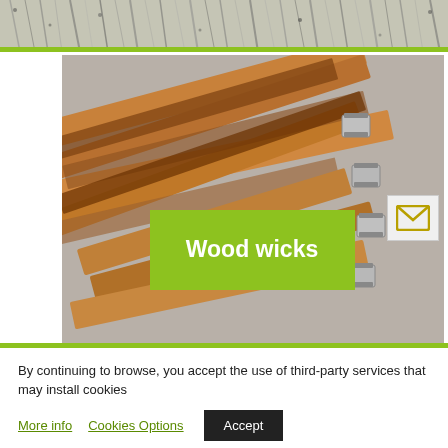[Figure (photo): Top image strip showing shredded paper or fiber material in black and white tones]
[Figure (photo): Photo of wood wicks (flat wooden strips with metal clips) arranged on a surface, with a green overlay box reading 'Wood wicks' and an email envelope icon]
By continuing to browse, you accept the use of third-party services that may install cookies
More info
Cookies Options
Accept